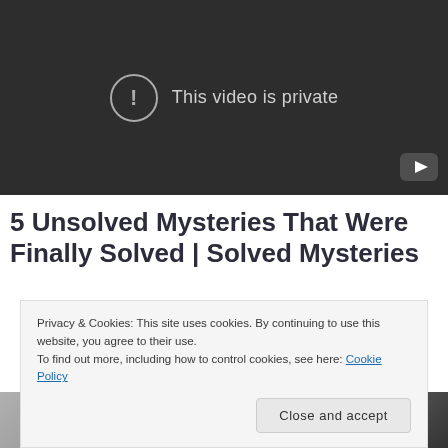[Figure (screenshot): Embedded video player showing 'This video is private' message with exclamation icon on dark background, YouTube logo in bottom right corner]
5 Unsolved Mysteries That Were Finally Solved | Solved Mysteries
Privacy & Cookies: This site uses cookies. By continuing to use this website, you agree to their use.
To find out more, including how to control cookies, see here: Cookie Policy
Close and accept
[Figure (photo): Partial thumbnail image at bottom of page showing people, partially obscured]